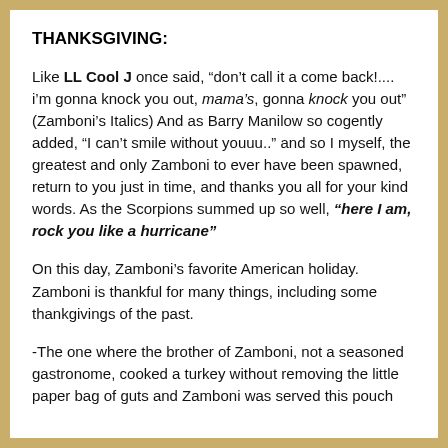THANKSGIVING:
Like LL Cool J once said, “don’t call it a come back!.... i’m gonna knock you out, mama’s, gonna knock you out” (Zamboni’s Italics) And as Barry Manilow so cogently added, “I can’t smile without youuu..” and so I myself, the greatest and only Zamboni to ever have been spawned, return to you just in time, and thanks you all for your kind words. As the Scorpions summed up so well, “here I am, rock you like a hurricane”
On this day, Zamboni’s favorite American holiday. Zamboni is thankful for many things, including some thankgivings of the past.
-The one where the brother of Zamboni, not a seasoned gastronome, cooked a turkey without removing the little paper bag of guts and Zamboni was served this pouch